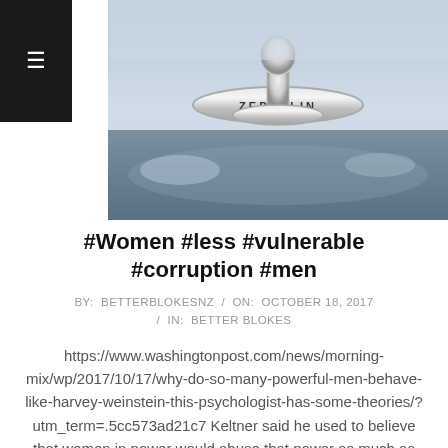[Figure (photo): Close-up photograph of a chrome Zeppelin hood ornament/badge on a car, with sky reflections visible]
#Women #less #vulnerable #corruption #men
BY: BETTERBLOKESNZ / ON: OCTOBER 18, 2017 / IN: BETTER BLOKES
https://www.washingtonpost.com/news/morning-mix/wp/2017/10/17/why-do-so-many-powerful-men-behave-like-harvey-weinstein-this-psychologist-has-some-theories/?utm_term=.5cc573ad21c7 Keltner said he used to believe that women in power would abuse that power as much as men. But new data has emerged showing that such women are less